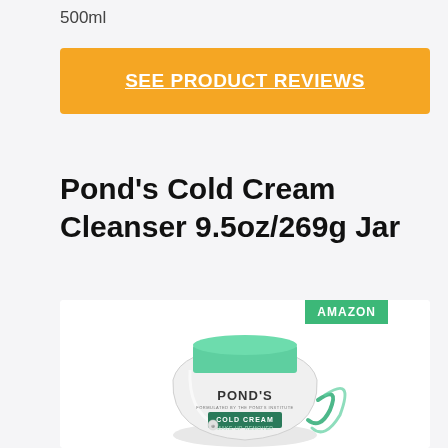500ml
SEE PRODUCT REVIEWS
Pond's Cold Cream Cleanser 9.5oz/269g Jar
[Figure (photo): Pond's Cold Cream Make-Up Remover jar with teal/green lid, white jar with POND'S branding and COLD CREAM label. AMAZON badge in top right corner.]